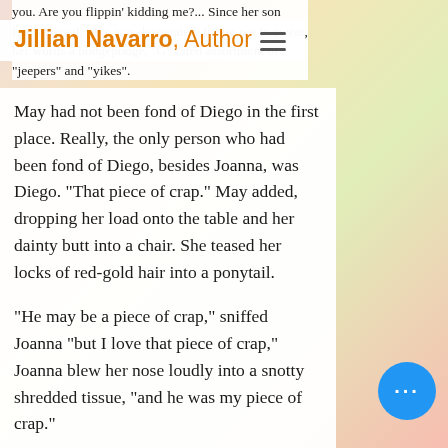Jillian Navarro, Author
you. Are you flippin' kidding me?... Since her son Leo's arrival, May was desperately trying not to swear, her words a hodgepodge, "G" rated assortment of "jeepers" and "yikes".
May had not been fond of Diego in the first place. Really, the only person who had been fond of Diego, besides Joanna, was Diego. “That piece of crap.” May added, dropping her load onto the table and her dainty butt into a chair. She teased her locks of red-gold hair into a ponytail.
“He may be a piece of crap,” sniffed Joanna “but I love that piece of crap,” Joanna blew her nose loudly into a snotty shredded tissue, “and he was my piece of crap.”
May sprang to her feet and hugged Joanna, “Oh sweetie, I promise you, there